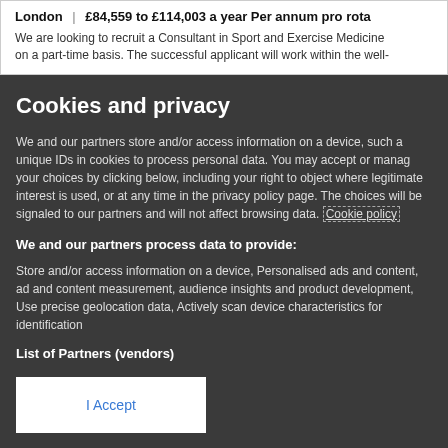London | £84,559 to £114,003 a year Per annum pro rota
We are looking to recruit a Consultant in Sport and Exercise Medicine on a part-time basis. The successful applicant will work within the well-
Cookies and privacy
We and our partners store and/or access information on a device, such a unique IDs in cookies to process personal data. You may accept or manag your choices by clicking below, including your right to object where legitimate interest is used, or at any time in the privacy policy page. The choices will be signaled to our partners and will not affect browsing data. Cookie policy
We and our partners process data to provide:
Store and/or access information on a device, Personalised ads and content, ad and content measurement, audience insights and product development, Use precise geolocation data, Actively scan device characteristics for identification
List of Partners (vendors)
I Accept